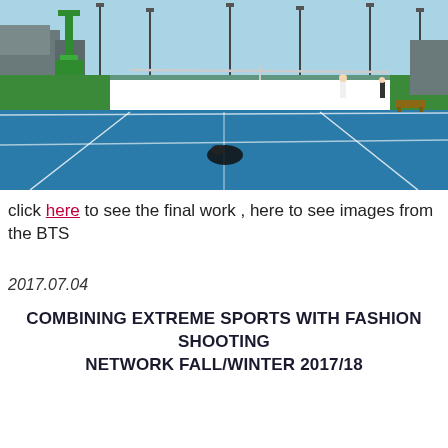[Figure (photo): Outdoor tennis court with blue and green surface. A film crew is visible with equipment (green crane/lift on left). Players on the court in background. Clear sunny day, buildings and lamp posts visible in background. Camera person lying on the court in the foreground center.]
click here to see the final work , here to see images from the BTS
2017.07.04
COMBINING EXTREME SPORTS WITH FASHION SHOOTING NETWORK FALL/WINTER 2017/18